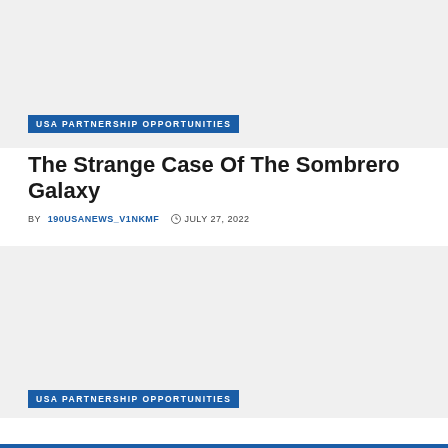[Figure (photo): Top image placeholder, light gray background]
USA PARTNERSHIP OPPORTUNITIES
The Strange Case Of The Sombrero Galaxy
BY 190USANEWS_V1NKMF  JULY 27, 2022
[Figure (photo): Bottom image placeholder, light gray background]
USA PARTNERSHIP OPPORTUNITIES